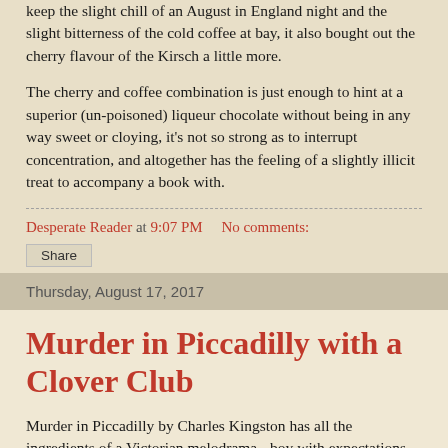keep the slight chill of an August in England night and the slight bitterness of the cold coffee at bay, it also bought out the cherry flavour of the Kirsch a little more.
The cherry and coffee combination is just enough to hint at a superior (un-poisoned) liqueur chocolate without being in any way sweet or cloying, it's not so strong as to interrupt concentration, and altogether has the feeling of a slightly illicit treat to accompany a book with.
Desperate Reader at 9:07 PM   No comments:
Share
Thursday, August 17, 2017
Murder in Piccadilly with a Clover Club
Murder in Piccadilly by Charles Kingston has all the ingredients of a Victorian melodrama - boy with expectations meets a dancer in a nightclub, he fancies her, she fancies his expectations, but the wealthy uncle refuses to stump up